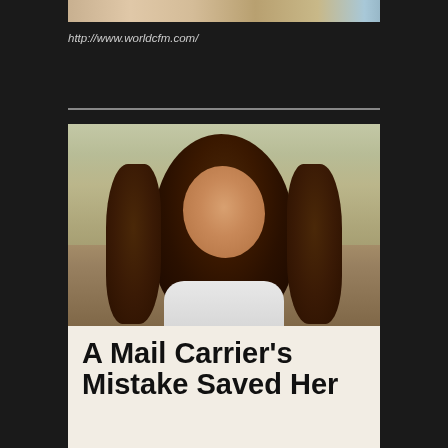[Figure (photo): Partial top image strip showing a cropped photo at top]
http://www.worldcfm.com/
[Figure (photo): Portrait photo of a woman with curly brown hair, wearing a white top, photographed outdoors with sandy/beach background]
A Mail Carrier's Mistake Saved Her